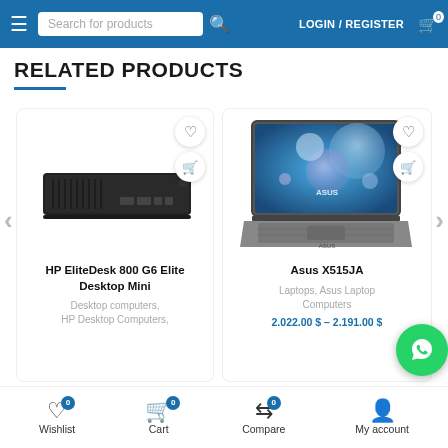Search for products | LOGIN / REGISTER | Cart 0
RELATED PRODUCTS
[Figure (photo): HP EliteDesk 800 G6 Elite Desktop Mini product photo - a small black rectangular desktop computer]
HP EliteDesk 800 G6 Elite Desktop Mini
Desktop computers, HP Desktop Computers,
[Figure (photo): Asus X515JA laptop product photo - silver/grey laptop with blue screen showing bubbles design and ASUS logo]
Asus X515JA
Laptops, Asus Laptop Computers
2.022.00 $ – 2.191.00 $
Wishlist 0 | Cart 0 | Compare 0 | My account